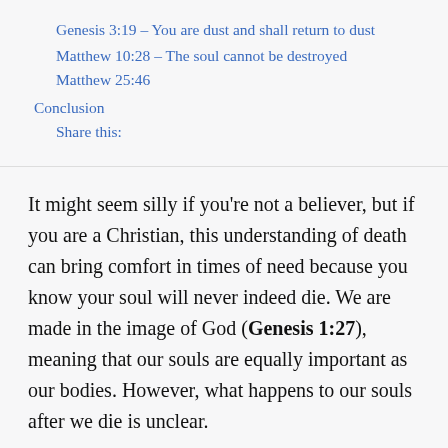Genesis 3:19 – You are dust and shall return to dust
Matthew 10:28 – The soul cannot be destroyed
Matthew 25:46
Conclusion
Share this:
It might seem silly if you're not a believer, but if you are a Christian, this understanding of death can bring comfort in times of need because you know your soul will never indeed die. We are made in the image of God (Genesis 1:27), meaning that our souls are equally important as our bodies. However, what happens to our souls after we die is unclear.